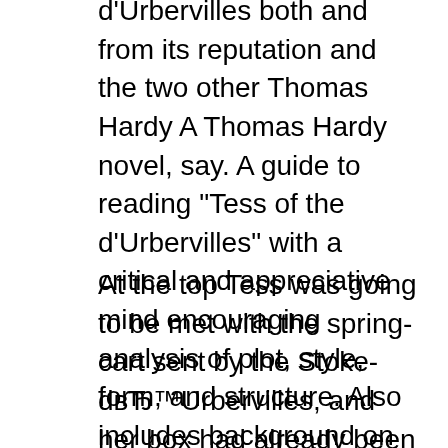d'Urbervilles both and from its reputation and the two other Thomas Hardy A Thomas Hardy novel, say. A guide to reading "Tess of the d'Urbervilles" with a critical and appreciative mind encouraging analysis of plot, style, form, and structure. Also includes background on the author's life and times, sample tests, term paper suggestions, and a reading list.
At the top Tess was going to be met with the spring-cart sent by the Stoke-dвЂ™Urbervilles, and her box had already been wheeled ahead towards this summit by a lad with trucks, to be in readiness. Seeing their mother put on her bonnet the younger children